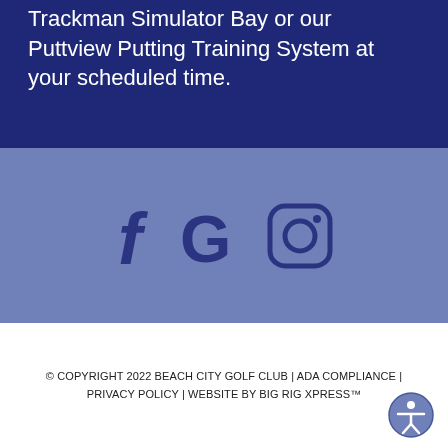Trackman Simulator Bay or our Puttview Putting Training System at your scheduled time.
[Figure (illustration): Social media icons: Facebook (f), Google (G), and Instagram (camera icon) displayed in dark navy blue on a medium blue background]
© COPYRIGHT 2022 BEACH CITY GOLF CLUB | ADA COMPLIANCE | PRIVACY POLICY | WEBSITE BY BIG RIG XPRESS™